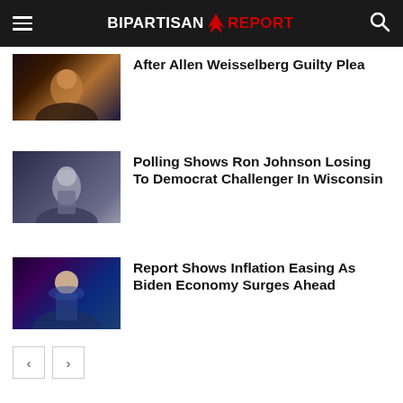BIPARTISAN REPORT
After Allen Weisselberg Guilty Plea
[Figure (photo): Dark image thumbnail, possibly a woman in a studio setting]
Polling Shows Ron Johnson Losing To Democrat Challenger In Wisconsin
[Figure (photo): Gray-toned image of a man in a suit, likely a politician at a podium]
Report Shows Inflation Easing As Biden Economy Surges Ahead
[Figure (photo): Dark blue image of Joe Biden smiling at a debate]
« »  pagination controls